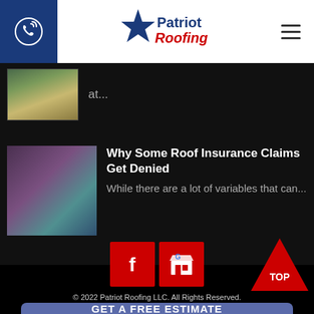[Figure (screenshot): Patriot Roofing website header with phone button, logo, and hamburger menu]
at...
[Figure (photo): Couple reviewing insurance documents]
Why Some Roof Insurance Claims Get Denied
While there are a lot of variables that can...
[Figure (logo): Facebook icon (red square with white F)]
[Figure (logo): Google My Business icon (red square with store graphic)]
© 2022 Patriot Roofing LLC. All Rights Reserved.
GET A FREE ESTIMATE